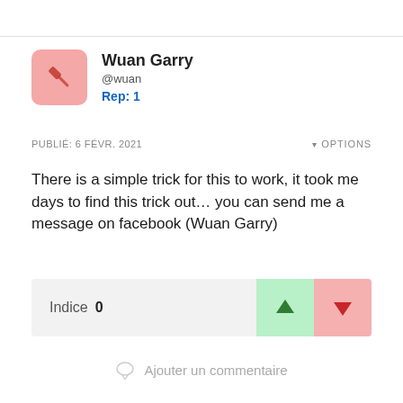Wuan Garry
@wuan
Rep: 1
PUBLIÉ: 6 FÉVR. 2021
OPTIONS
There is a simple trick for this to work, it took me days to find this trick out… you can send me a message on facebook (Wuan Garry)
Indice 0
Ajouter un commentaire